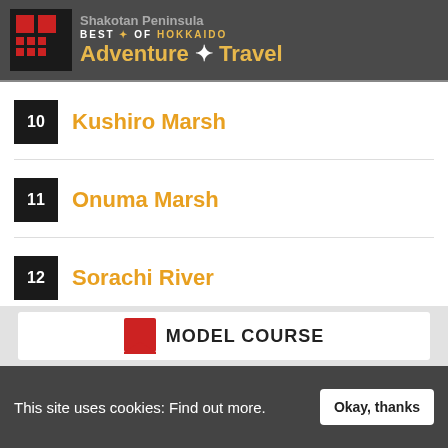BEST of HOKKAIDO — Shakotan Peninsula Adventure + Travel
10 Kushiro Marsh
11 Onuma Marsh
12 Sorachi River
13 Tokachi River
MODEL COURSE
This site uses cookies: Find out more.
Okay, thanks